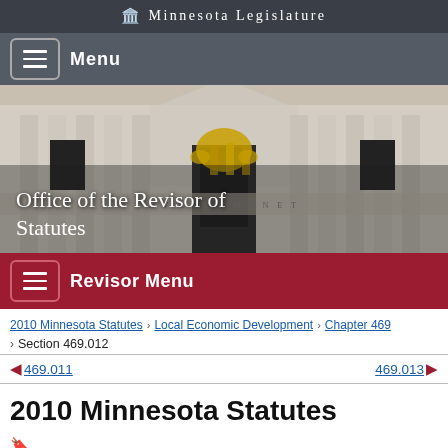Minnesota Legislature
Menu
[Figure (photo): Minnesota State Capitol building facade with columns and golden sculpture, with overlay text 'Office of the Revisor of Statutes']
Revisor Menu
2010 Minnesota Statutes > Local Economic Development > Chapter 469 > Section 469.012
469.011   469.013
2010 Minnesota Statutes